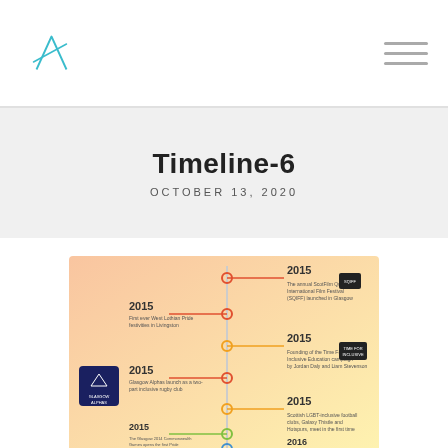Logo and navigation header
Timeline-6
OCTOBER 13, 2020
[Figure (infographic): A vertical timeline infographic with colored circles and connecting lines on a gradient background (pink to yellow). Shows multiple entries all dated 2015 and one 2016. Entries include: First ever West Lothian Pride festivities in Livingston (2015); The annual ScotFilm Queer International Film Festival (SQIFF) launched in Glasgow (2015); Founding of the Time For Inclusive Education campaign by Jordan Daly and Liam Stevenson (2015); Glasgow Alphas launch as a two-part inclusive rugby club (2015); Scottish LGBT-inclusive football clubs, Galaxy Thistle and Hotspurs, meet in the first time (2015); The Glasgow 2014 Commonwealth Games opens the first Pride House in Scotland, organised by LGT Sports (2015); First report from Till Campaign showcases towards LGBT in (2016). Also shows a Glasgow Alphas badge logo on the left and a Time For Inclusive Education logo on the right.]